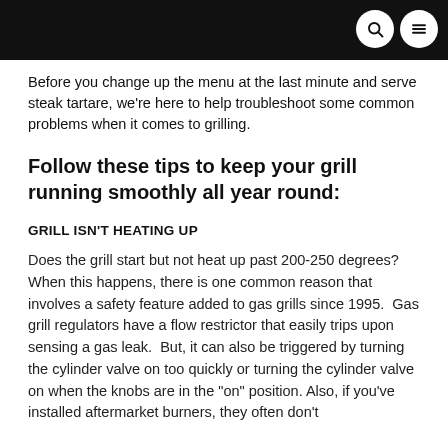Before you change up the menu at the last minute and serve steak tartare, we're here to help troubleshoot some common problems when it comes to grilling.
Follow these tips to keep your grill running smoothly all year round:
GRILL ISN'T HEATING UP
Does the grill start but not heat up past 200-250 degrees? When this happens, there is one common reason that involves a safety feature added to gas grills since 1995.  Gas grill regulators have a flow restrictor that easily trips upon sensing a gas leak.  But, it can also be triggered by turning the cylinder valve on too quickly or turning the cylinder valve on when the knobs are in the "on" position. Also, if you've installed aftermarket burners, they often don't